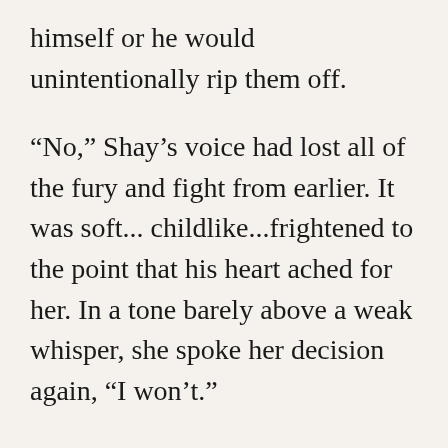himself or he would unintentionally rip them off.
“No,”  Shay’s voice had lost all of the fury and fight from earlier.  It was soft... childlike...frightened to the point that his heart ached for her.   In a tone barely above a weak whisper, she spoke her decision again, “I won’t.”
No one spoke; a strange silence hovered on all sides...